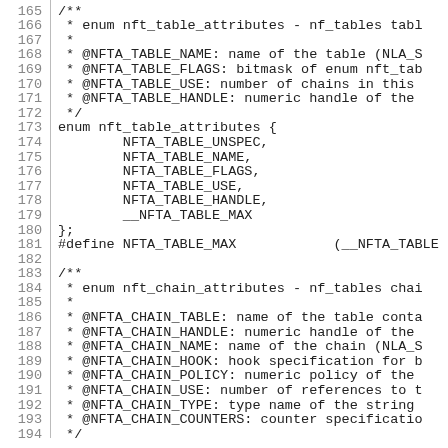165  /**
166   * enum nft_table_attributes - nf_tables tabl
167   *
168   * @NFTA_TABLE_NAME: name of the table (NLA_S
169   * @NFTA_TABLE_FLAGS: bitmask of enum nft_tab
170   * @NFTA_TABLE_USE: number of chains in this
171   * @NFTA_TABLE_HANDLE: numeric handle of the
172   */
173  enum nft_table_attributes {
174       NFTA_TABLE_UNSPEC,
175       NFTA_TABLE_NAME,
176       NFTA_TABLE_FLAGS,
177       NFTA_TABLE_USE,
178       NFTA_TABLE_HANDLE,
179       __NFTA_TABLE_MAX
180  };
181  #define NFTA_TABLE_MAX        (__NFTA_TABLE
182
183  /**
184   * enum nft_chain_attributes - nf_tables chai
185   *
186   * @NFTA_CHAIN_TABLE: name of the table conta
187   * @NFTA_CHAIN_HANDLE: numeric handle of the
188   * @NFTA_CHAIN_NAME: name of the chain (NLA_S
189   * @NFTA_CHAIN_HOOK: hook specification for b
190   * @NFTA_CHAIN_POLICY: numeric policy of the
191   * @NFTA_CHAIN_USE: number of references to t
192   * @NFTA_CHAIN_TYPE: type name of the string
193   * @NFTA_CHAIN_COUNTERS: counter specificatio
194   */